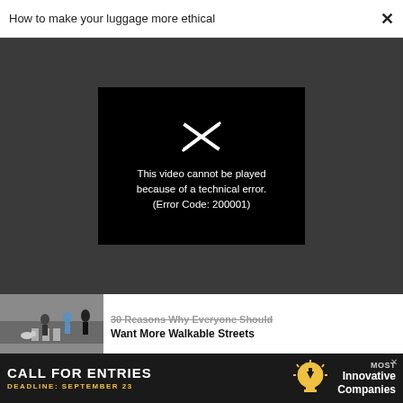How to make your luggage more ethical ×
[Figure (screenshot): Video player showing error: 'This video cannot be played because of a technical error. (Error Code: 200001)' on black background within dark grey video container]
30 Reasons Why Everyone Should Want More Walkable Streets
NEWS
These are the 14 most in-demand
[Figure (infographic): Advertisement banner: CALL FOR ENTRIES, DEADLINE: SEPTEMBER 23, Most Innovative Companies]